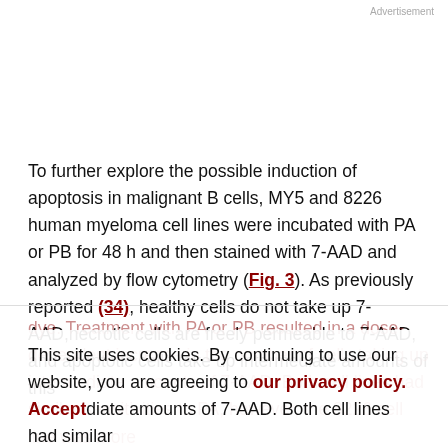Advertisement
To further explore the possible induction of apoptosis in malignant B cells, MY5 and 8226 human myeloma cell lines were incubated with PA or PB for 48 h and then stained with 7-AAD and analyzed by flow cytometry (Fig. 3). As previously reported (34), healthy cells do not take up 7-AAD,necrotic cells are freely permeable to 7-AAD, and apoptotic cells take up intermediate amounts of this dye. Treatment with PA or PB resulted in a dose-dependent increase in the number of cells taking up intermediate amounts of 7-AAD. Both cell lines had similar sensitivities to PA, however, the 8226 cell line was more
This site uses cookies. By continuing to use our website, you are agreeing to our privacy policy. Accept